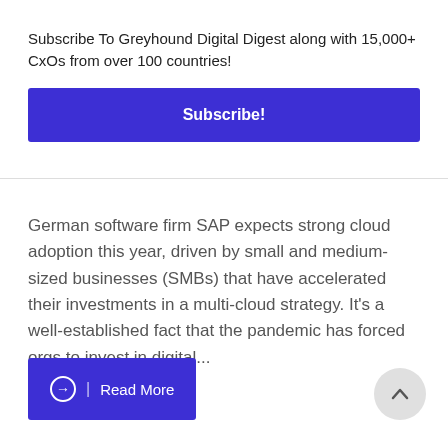Subscribe To Greyhound Digital Digest along with 15,000+ CxOs from over 100 countries!
Subscribe!
German software firm SAP expects strong cloud adoption this year, driven by small and medium-sized businesses (SMBs) that have accelerated their investments in a multi-cloud strategy. It's a well-established fact that the pandemic has forced orgs to invest in digital...
Read More